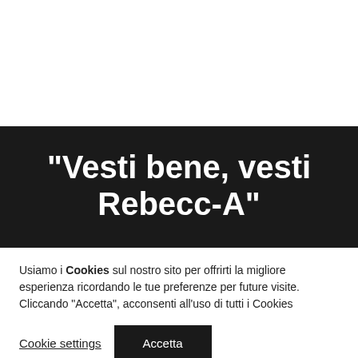[Figure (other): White background area at the top of the page (website header area, mostly blank/white)]
"Vesti bene, vesti Rebecc-A"
Usiamo i Cookies sul nostro sito per offrirti la migliore esperienza ricordando le tue preferenze per future visite. Cliccando "Accetta", acconsenti all'uso di tutti i Cookies
Cookie settings   Accetta